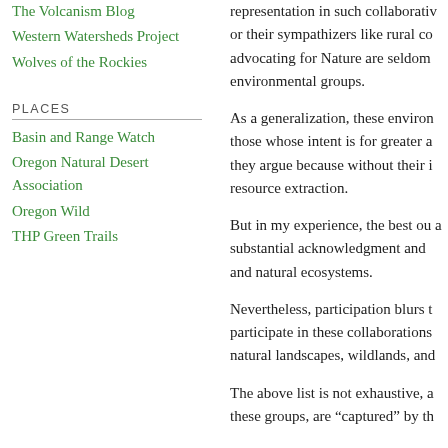The Volcanism Blog
Western Watersheds Project
Wolves of the Rockies
PLACES
Basin and Range Watch
Oregon Natural Desert Association
Oregon Wild
THP Green Trails
representation in such collaborative or their sympathizers like rural co advocating for Nature are seldom environmental groups.
As a generalization, these environ those whose intent is for greater a they argue because without their i resource extraction.
But in my experience, the best ou a substantial acknowledgment and and natural ecosystems.
Nevertheless, participation blurs t participate in these collaborations natural landscapes, wildlands, and
The above list is not exhaustive, a these groups, are “captured” by th